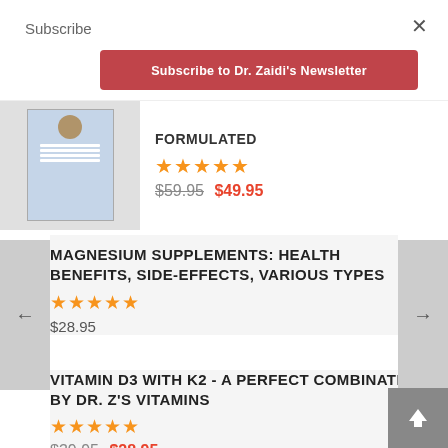Subscribe
×
Subscribe to Dr. Zaidi's Newsletter
FORMULATED ★★★★★ $59.95 $49.95
MAGNESIUM SUPPLEMENTS: HEALTH BENEFITS, SIDE-EFFECTS, VARIOUS TYPES
★★★★★ $28.95
VITAMIN D3 WITH K2 - A PERFECT COMBINATION BY DR. Z'S VITAMINS
★★★★★ $39.95 $28.95